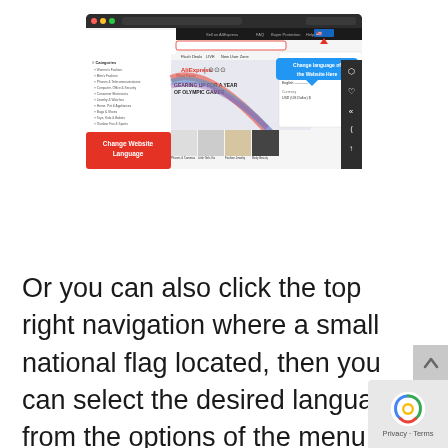[Figure (screenshot): Screenshot of AliExpress website showing the language change interface. A blue tooltip bubble reads 'Change language of the Website Here' pointing to the top right navigation area with a flag icon. On the left side, a red box says 'Change Website Language'. The site shows Olympic Games promotion 'GEARING UP FOR A YEAR OF OLYMPIC GAMES'.]
Or you can also click the top right navigation where a small national flag located, then you can select the desired language from the options of the menu